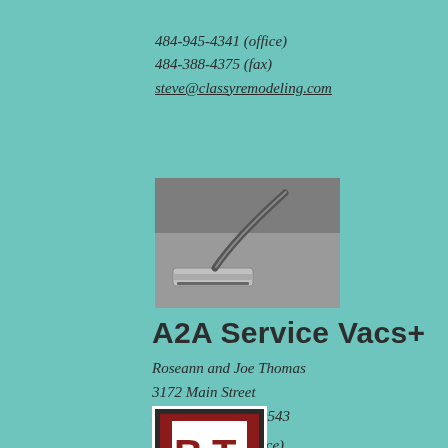484-945-4341 (office)
484-388-4375 (fax)
steve@classyremodeling.com
[Figure (photo): Photo of a vacuum cleaner head on carpet/floor surface with hose visible]
A2A Service Vacs+
Roseann and Joe Thomas
3172 Main Street
Morgantown PA 19543
610-286-9531 (office)
[Figure (logo): Red and white logo with letters BT in a square frame, partially visible at bottom]